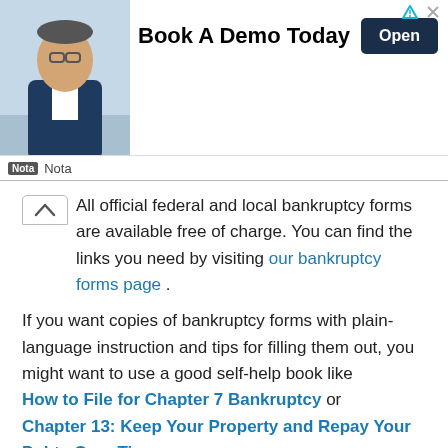[Figure (infographic): Advertisement banner for 'Nota' service featuring a photo of a man in a suit, bold text 'Book A Demo Today', an 'Open' button, and the Nota logo.]
All official federal and local bankruptcy forms are available free of charge. You can find the links you need by visiting our bankruptcy forms page .
If you want copies of bankruptcy forms with plain-language instruction and tips for filling them out, you might want to use a good self-help book like How to File for Chapter 7 Bankruptcy or Chapter 13: Keep Your Property and Repay Your Debts Over Time , both published by Nolo.
What Is Schedule C For In A